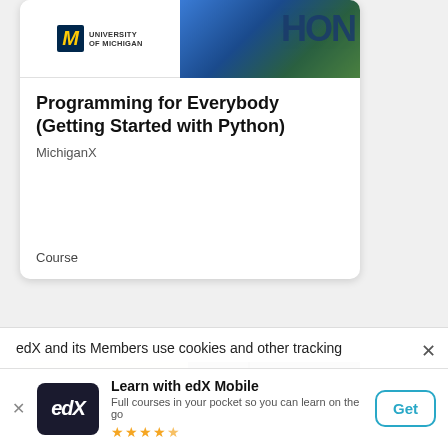[Figure (screenshot): Course card for 'Programming for Everybody (Getting Started with Python)' on edX, showing University of Michigan logo and a hero image with Python text]
Programming for Everybody (Getting Started with Python)
MichiganX
Course
[Figure (screenshot): Partial second course card with gray background]
edX and its Members use cookies and other tracking
Learn with edX Mobile
Full courses in your pocket so you can learn on the go
[Figure (other): 4.5 star rating shown in gold stars]
Get